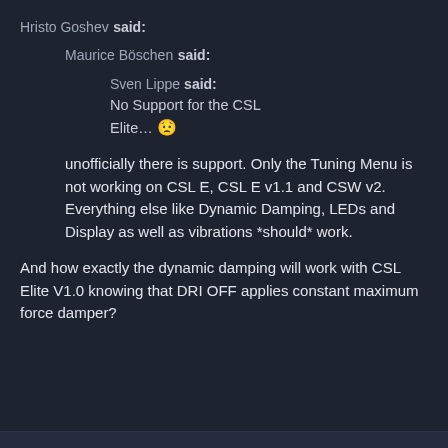Hristo Goshev said:
Maurice Böschen said:
Sven Lippe said:
No Support for the CSL Elite… 😟
unofficially there is support. Only the Tuning Menu is not working on CSL E, CSL E v1.1 and CSW v2. Everything else like Dynamic Damping, LEDs and Display as well as vibrations *should* work.
And how exactly the dynamic damping will work with CSL Elite V1.0 knowing that DRI OFF applies constant maximum force damper?